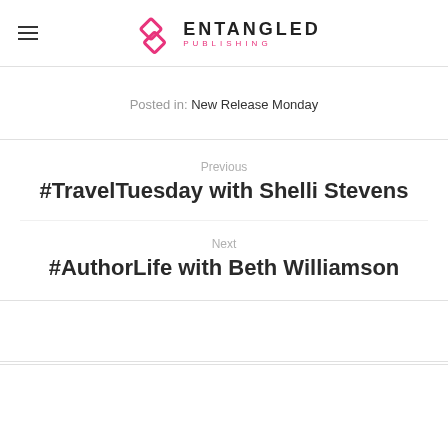Entangled Publishing
Posted in: New Release Monday
Previous
#TravelTuesday with Shelli Stevens
Next
#AuthorLife with Beth Williamson